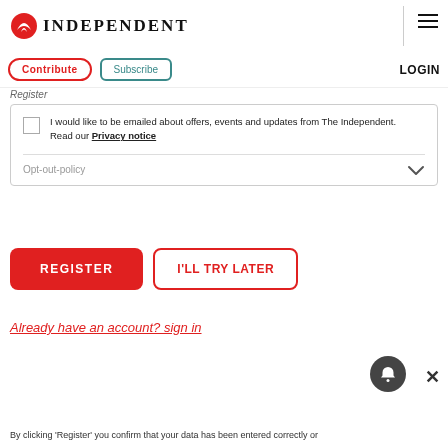INDEPENDENT
Contribute  Subscribe  LOGIN
Register
I would like to be emailed about offers, events and updates from The Independent.
Read our Privacy notice
Opt-out-policy
REGISTER
I'LL TRY LATER
Already have an account? sign in
By clicking 'Register' you confirm that your data has been entered correctly or